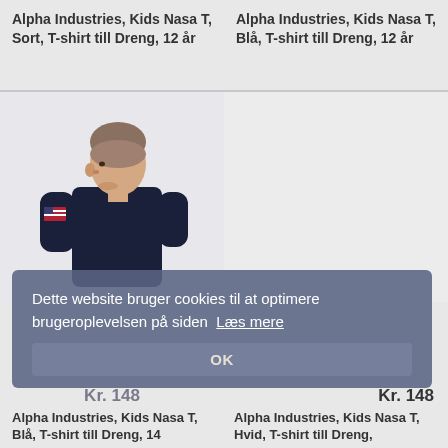Alpha Industries, Kids Nasa T, Sort, T-shirt till Dreng, 12 år
Alpha Industries, Kids Nasa T, Blå, T-shirt till Dreng, 12 år
[Figure (photo): Boy wearing a dark navy blue t-shirt with an American flag patch on the sleeve, photographed from the side against a light background]
[Figure (photo): Empty light gray product image area]
Dette website bruger cookies til at optimere brugeroplevelsen på siden  Læs mere
OK
Kr. 148
Kr. 148
Alpha Industries, Kids Nasa T, Blå, T-shirt till Dreng, 14
Alpha Industries, Kids Nasa T, Hvid, T-shirt till Dreng,